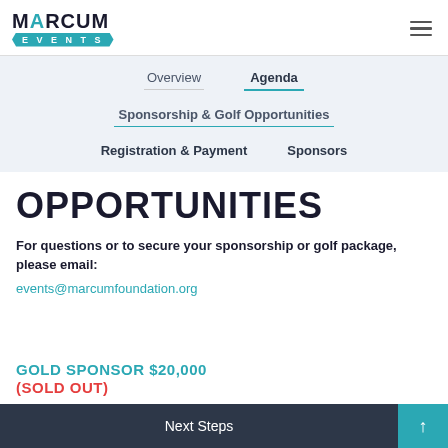Marcum Events
Overview
Agenda
Sponsorship & Golf Opportunities
Registration & Payment
Sponsors
OPPORTUNITIES
For questions or to secure your sponsorship or golf package, please email:
events@marcumfoundation.org
GOLD SPONSOR $20,000
(SOLD OUT)